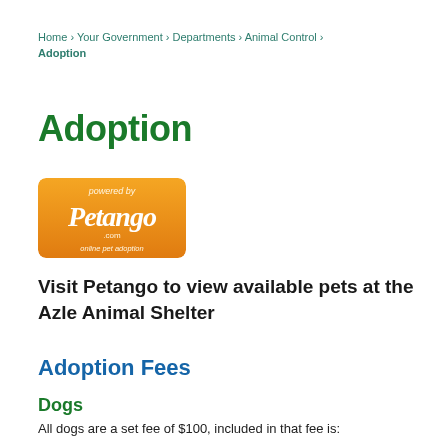Home › Your Government › Departments › Animal Control › Adoption
Adoption
[Figure (logo): Petango.com 'powered by' online pet adoption logo with orange gradient background and white script text]
Visit Petango to view available pets at the Azle Animal Shelter
Adoption Fees
Dogs
All dogs are a set fee of $100, included in that fee is: